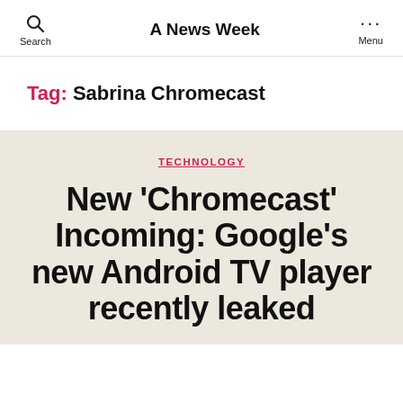A News Week
Tag: Sabrina Chromecast
TECHNOLOGY
New 'Chromecast' Incoming: Google's new Android TV player recently leaked